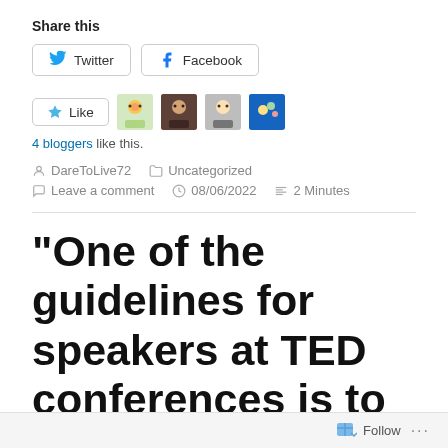Share this
Twitter | Facebook
[Figure (other): Like button with star icon followed by 4 blogger avatar thumbnails]
4 bloggers like this.
DareToLive72   Uncategorized
Leave a comment   08/06/2022   2 Minutes
“One of the guidelines for speakers at TED conferences is to avoid
Follow ...